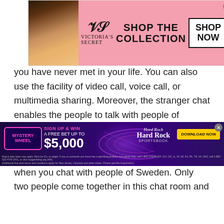[Figure (screenshot): Victoria's Secret advertisement banner showing a woman model on pink background with text 'SHOP THE COLLECTION' and 'SHOP NOW' button]
you have never met in your life. You can also use the facility of video call, voice call, or multimedia sharing. Moreover, the stranger chat enables the people to talk with people of different nationalities. This chat ensures complete privacy of both the strangers. This means no other person can enter this chat when you chat with people of Sweden. Only two people come together in this chat room and talk.
Keep your identity secret:
[Figure (screenshot): Hard Rock Sportsbook advertisement with Mystery Wheel promotion offering sign up and win a free bet up to $5,000 with Download Now button]